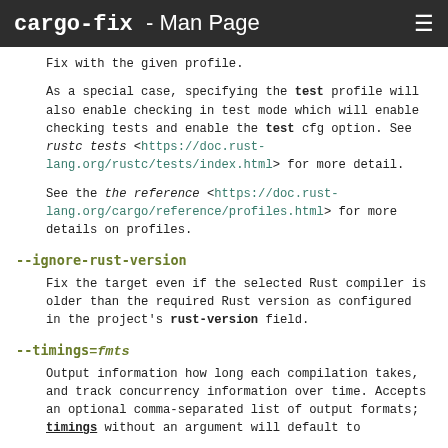cargo-fix - Man Page
Fix with the given profile.
As a special case, specifying the test profile will also enable checking in test mode which will enable checking tests and enable the test cfg option. See rustc tests <https://doc.rust-lang.org/rustc/tests/index.html> for more detail.
See the the reference <https://doc.rust-lang.org/cargo/reference/profiles.html> for more details on profiles.
--ignore-rust-version
Fix the target even if the selected Rust compiler is older than the required Rust version as configured in the project's rust-version field.
--timings=fmts
Output information how long each compilation takes, and track concurrency information over time. Accepts an optional comma-separated list of output formats; timings without an argument will default to